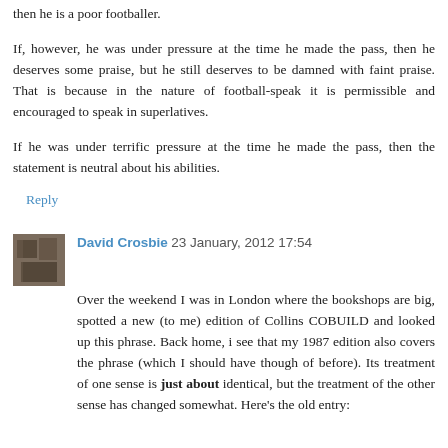then he is a poor footballer.
If, however, he was under pressure at the time he made the pass, then he deserves some praise, but he still deserves to be damned with faint praise. That is because in the nature of football-speak it is permissible and encouraged to speak in superlatives.
If he was under terrific pressure at the time he made the pass, then the statement is neutral about his abilities.
Reply
David Crosbie 23 January, 2012 17:54
Over the weekend I was in London where the bookshops are big, spotted a new (to me) edition of Collins COBUILD and looked up this phrase. Back home, i see that my 1987 edition also covers the phrase (which I should have though of before). Its treatment of one sense is just about identical, but the treatment of the other sense has changed somewhat. Here's the old entry: